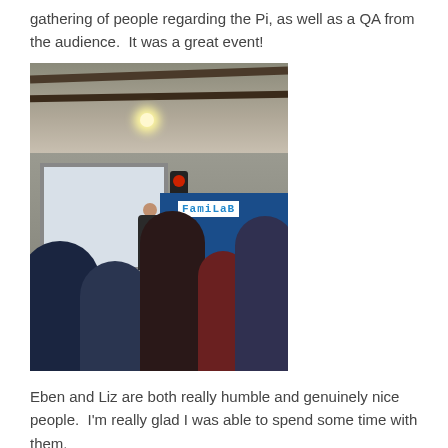gathering of people regarding the Pi, as well as a QA from the audience.  It was a great event!
[Figure (photo): Indoor warehouse or hackerspace with audience watching a presenter at a projector screen. A traffic light is visible on stage, along with a blue banner reading 'FamiLaB'. People are standing with backs to the camera.]
Eben and Liz are both really humble and genuinely nice people.  I'm really glad I was able to spend some time with them.